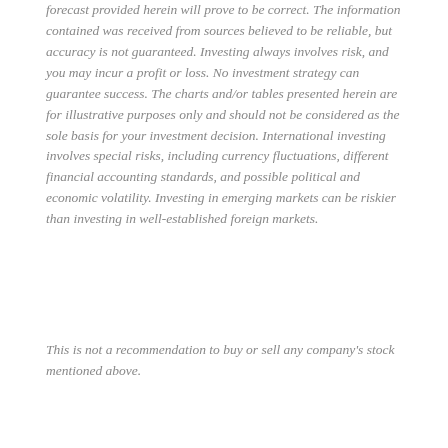forecast provided herein will prove to be correct. The information contained was received from sources believed to be reliable, but accuracy is not guaranteed. Investing always involves risk, and you may incur a profit or loss. No investment strategy can guarantee success. The charts and/or tables presented herein are for illustrative purposes only and should not be considered as the sole basis for your investment decision. International investing involves special risks, including currency fluctuations, different financial accounting standards, and possible political and economic volatility. Investing in emerging markets can be riskier than investing in well-established foreign markets.
This is not a recommendation to buy or sell any company's stock mentioned above.